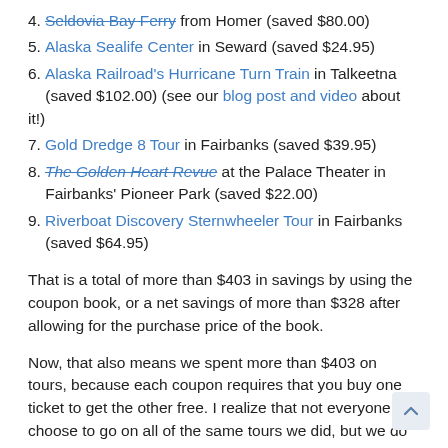4. Seldovia Bay Ferry from Homer (saved $80.00)
5. Alaska Sealife Center in Seward (saved $24.95)
6. Alaska Railroad's Hurricane Turn Train in Talkeetna (saved $102.00) (see our blog post and video about it!)
7. Gold Dredge 8 Tour in Fairbanks (saved $39.95)
8. The Golden Heart Revue at the Palace Theater in Fairbanks' Pioneer Park (saved $22.00)
9. Riverboat Discovery Sternwheeler Tour in Fairbanks (saved $64.95)
That is a total of more than $403 in savings by using the coupon book, or a net savings of more than $328 after allowing for the purchase price of the book.
Now, that also means we spent more than $403 on tours, because each coupon requires that you buy one ticket to get the other free. I realize that not everyone will choose to go on all of the same tours we did, but we do not regret doing any of these tours and would recommend them all. Everyone's budget is different and everyone chooses different activities but from the ones we have used...